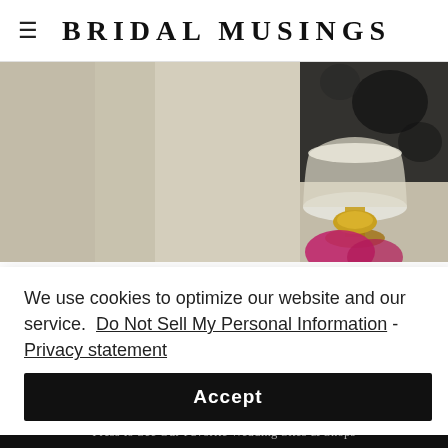BRIDAL MUSINGS
[Figure (photo): Close-up photograph of a decorative gold and crystal cocktail glass or perfume bottle held by a hand with magenta/pink nail, blurred dark background]
We use cookies to optimize our website and our service.  Do Not Sell My Personal Information - Privacy statement
Accept
BM Recommends
Press to See Our Favorite Wedding Sites & Shops